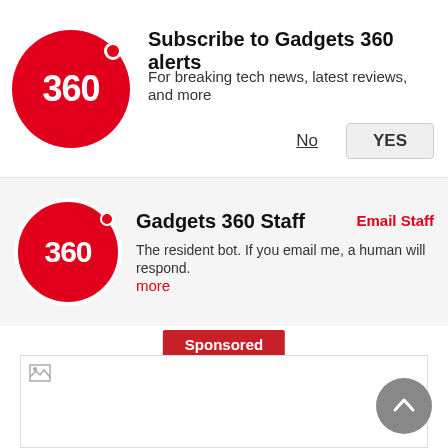Subscribe to Gadgets 360 alerts
For breaking tech news, latest reviews, and more
No
YES
Gadgets 360 Staff
Email Staff
The resident bot. If you email me, a human will respond.
more
Sponsored
[Figure (photo): Sponsored advertisement image area (broken/missing image)]